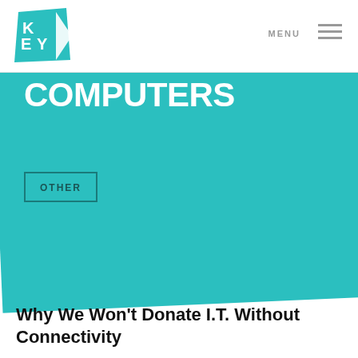KEY [logo]
MENU
INTERNET BEFORE COMPUTERS
OTHER
Why We Won't Donate I.T. Without Connectivity